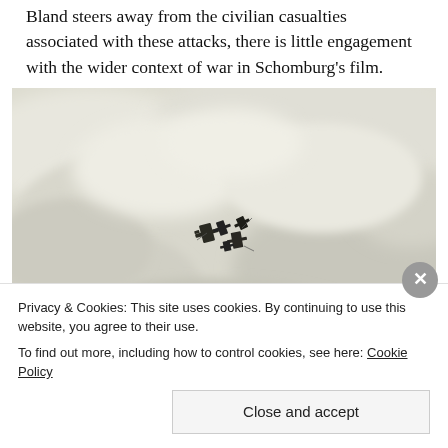Bland steers away from the civilian casualties associated with these attacks, there is little engagement with the wider context of war in Schomburg's film.
[Figure (photo): Aerial photograph showing two military aircraft flying over a hazy, pale landscape with smoke or clouds. The image is muted in tone with a beige/grey color palette. One aircraft is visible in the upper-left area with additional smaller aircraft nearby, and another aircraft is visible in the center-lower portion of the image.]
Privacy & Cookies: This site uses cookies. By continuing to use this website, you agree to their use.
To find out more, including how to control cookies, see here: Cookie Policy